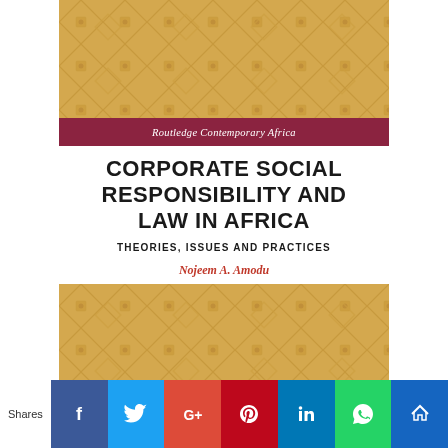[Figure (illustration): Book cover for 'Corporate Social Responsibility and Law in Africa: Theories, Issues and Practices' by Nojeem A. Amodu, published by Routledge Contemporary Africa. Cover features a golden/amber African kente-style geometric pattern background with a dark red series band at top and Routledge logo at bottom right.]
CORPORATE SOCIAL RESPONSIBILITY AND LAW IN AFRICA
THEORIES, ISSUES AND PRACTICES
Nojeem A. Amodu
Shares